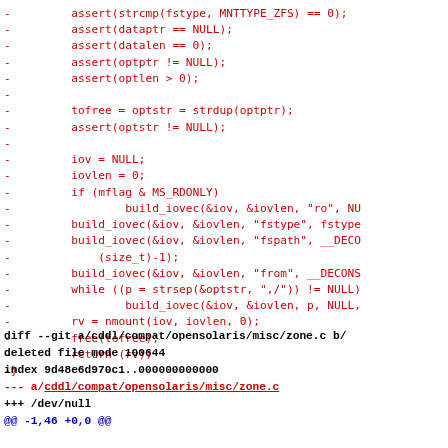removed code lines: assert strcmp fstype MNTTYPE_ZFS, assert dataptr NULL, assert datalen 0, assert optptr NULL, assert optlen 0, blank, tofree optstr strdup optptr, assert optstr NULL, blank, iov NULL, iovlen 0, if mflag MS_RDONLY, build_iovec ro, build_iovec fstype, build_iovec fspath DECO, size_t -1, build_iovec from DECONS, while p strsep optstr, build_iovec iov iovlen p NULL, rv nmount iov iovlen 0, free tofree, return rv, -}
diff --git a/cddl/compat/opensolaris/misc/zone.c b/
deleted file mode 100644
index 9d48e6d970c1..000000000000
--- a/cddl/compat/opensolaris/misc/zone.c
+++ /dev/null
@@ -1,46 +0,0 @@